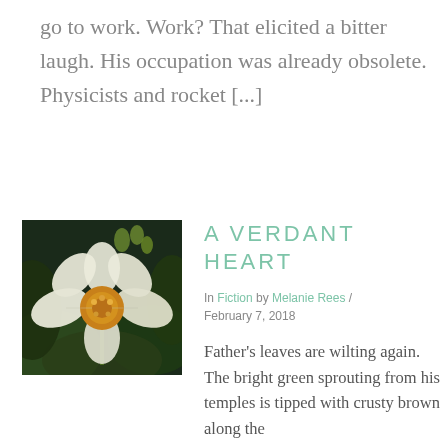go to work. Work? That elicited a bitter laugh. His occupation was already obsolete. Physicists and rocket [...]
[Figure (photo): Close-up photograph of a white and yellow flower with green background, showing petals and center detail.]
A VERDANT HEART
In Fiction by Melanie Rees / February 7, 2018
Father's leaves are wilting again. The bright green sprouting from his temples is tipped with crusty brown along the